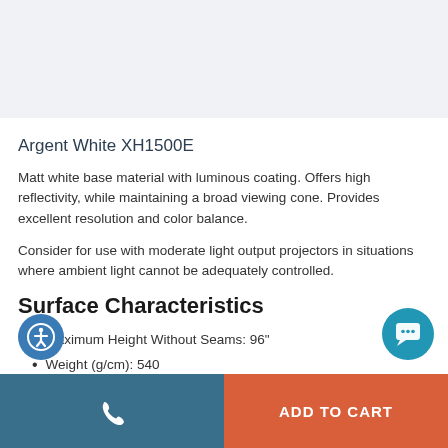Argent White XH1500E
Matt white base material with luminous coating. Offers high reflectivity, while maintaining a broad viewing cone. Provides excellent resolution and color balance.
Consider for use with moderate light output projectors in situations where ambient light cannot be adequately controlled.
Surface Characteristics
Maximum Height Without Seams: 96"
Weight (g/cm): 540